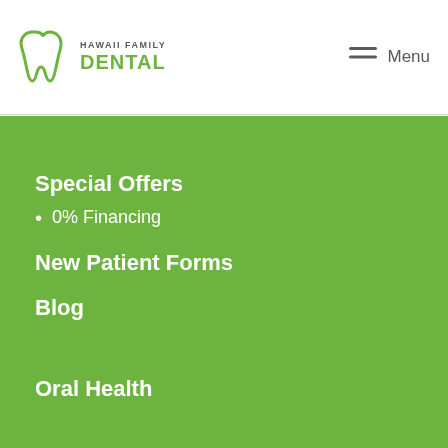HAWAII FAMILY DENTAL
Special Offers
0% Financing
New Patient Forms
Blog
Oral Health